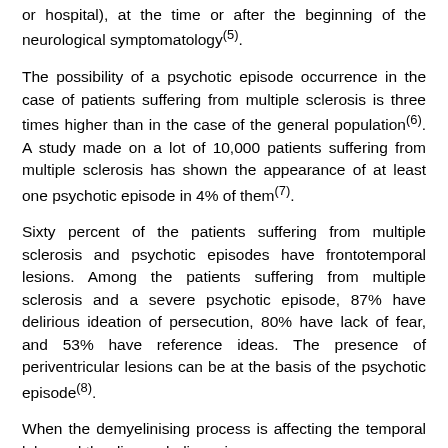or hospital), at the time or after the beginning of the neurological symptomatology(5).
The possibility of a psychotic episode occurrence in the case of patients suffering from multiple sclerosis is three times higher than in the case of the general population(6). A study made on a lot of 10,000 patients suffering from multiple sclerosis has shown the appearance of at least one psychotic episode in 4% of them(7).
Sixty percent of the patients suffering from multiple sclerosis and psychotic episodes have frontotemporal lesions. Among the patients suffering from multiple sclerosis and a severe psychotic episode, 87% have delirious ideation of persecution, 80% have lack of fear, and 53% have reference ideas. The presence of periventricular lesions can be at the basis of the psychotic episode(8).
When the demyelinising process is affecting the temporal lobe and the diencephalic regions,